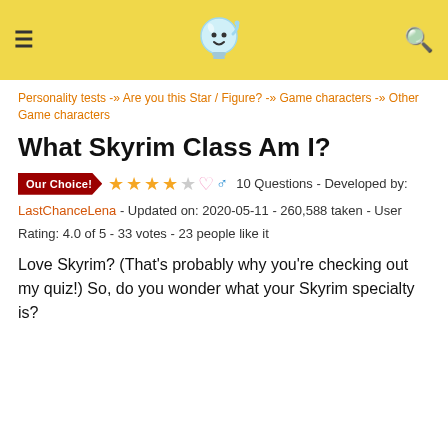Header navigation bar with logo, hamburger menu and search icon
Personality tests -» Are you this Star / Figure? -» Game characters -» Other Game characters
What Skyrim Class Am I?
Our Choice! ★★★★☆ ♀ ♂ 10 Questions - Developed by:
LastChanceLena - Updated on: 2020-05-11 - 260,588 taken - User
Rating: 4.0 of 5 - 33 votes - 23 people like it
Love Skyrim? (That's probably why you're checking out my quiz!) So, do you wonder what your Skyrim specialty is?